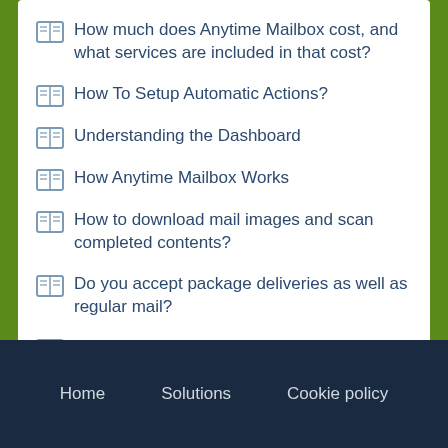How much does Anytime Mailbox cost, and what services are included in that cost?
How To Setup Automatic Actions?
Understanding the Dashboard
How Anytime Mailbox Works
How to download mail images and scan completed contents?
Do you accept package deliveries as well as regular mail?
Do you receive mail and packages from all couriers?
Germany Verification Requirements
Home   Solutions   Cookie policy